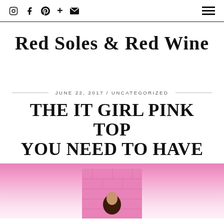Icons: Instagram, Facebook, Pinterest, Plus, Email | Hamburger menu
Red Soles & Red Wine
JUNE 22, 2017 / UNCATEGORIZED
THE IT GIRL PINK TOP YOU NEED TO HAVE
[Figure (photo): A woman standing in front of a pink brick wall, wearing a pink top, photo cropped at head level]